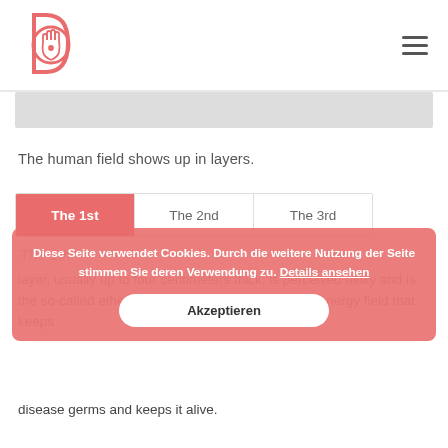Logo and navigation menu icon
[Figure (illustration): Gray banner/placeholder image strip]
The human field shows up in layers.
| The 1st | The 2nd | The 3rd |
| --- | --- | --- |
The 1th
layer, usually up to four centimeters thick, is perceived milky and is the so-called etheric body of the material body. Its energy field that keeps disease germs and keeps it alive.
Diese Seite verwendet Cookies. Durch die weitere Nutzung der Seite stimmen Sie deren Verwendung zu. Details ansehen
Akzeptieren